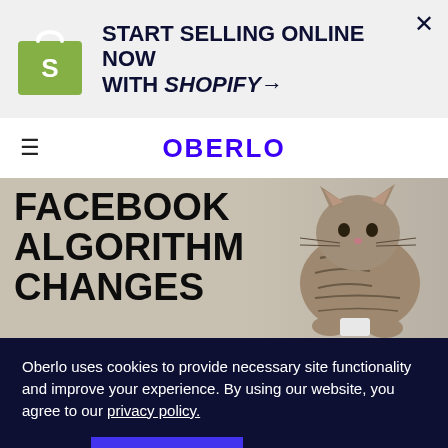[Figure (logo): Shopify ad banner with green shopping bag logo and bold text: START SELLING ONLINE NOW WITH SHOPIFY→, and an X close button]
OBERLO
[Figure (photo): Hero image showing bold text 'FACEBOOK ALGORITHM CHANGES' on left and a tabby cat on right side against light background]
Oberlo uses cookies to provide necessary site functionality and improve your experience. By using our website, you agree to our privacy policy.
Reject   ACCEPT